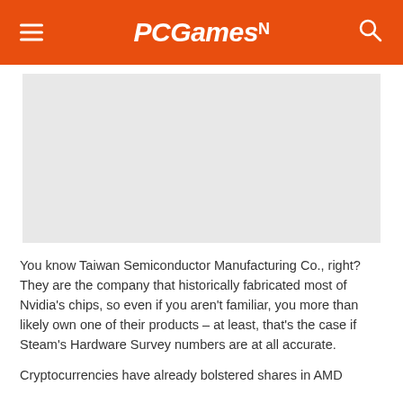PCGamesN
[Figure (photo): Gray placeholder image area for an article image]
You know Taiwan Semiconductor Manufacturing Co., right? They are the company that historically fabricated most of Nvidia’s chips, so even if you aren’t familiar, you more than likely own one of their products – at least, that’s the case if Steam’s Hardware Survey numbers are at all accurate.
Cryptocurrencies have already bolstered shares in AMD